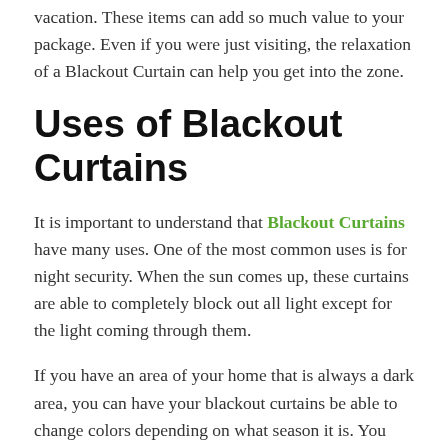vacation. These items can add so much value to your package. Even if you were just visiting, the relaxation of a Blackout Curtain can help you get into the zone.
Uses of Blackout Curtains
It is important to understand that Blackout Curtains have many uses. One of the most common uses is for night security. When the sun comes up, these curtains are able to completely block out all light except for the light coming through them.
If you have an area of your home that is always a dark area, you can have your blackout curtains be able to change colors depending on what season it is. You will be able to determine whether or not you should turn down the